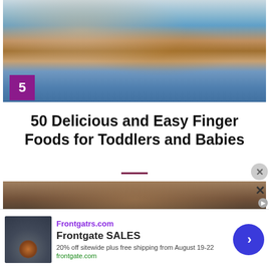[Figure (photo): Top-down view of a toddler in a blue bib reaching toward a wooden plate with green vegetables, with colorful items on the table. Number badge '5' in purple square overlay at bottom-left.]
50 Delicious and Easy Finger Foods for Toddlers and Babies
[Figure (photo): Partial view of a baby's head with striped hat, from above, with a plastic bag visible in the background.]
[Figure (other): Advertisement banner: Frontgate SALES - 20% off sitewide plus free shipping from August 19-22. frontgate.com. Shows outdoor fire pit furniture thumbnail and a blue arrow button.]